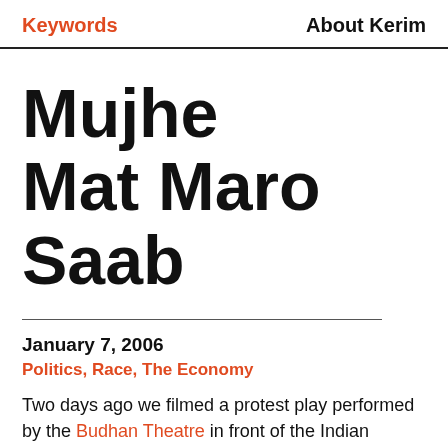Keywords   About Kerim
Mujhe Mat Maro Saab
January 7, 2006
Politics, Race, The Economy
Two days ago we filmed a protest play performed by the Budhan Theatre in front of the Indian Institute of Management (IIM) in